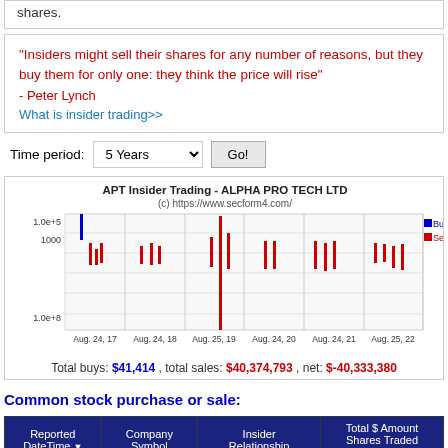shares.
"Insiders might sell their shares for any number of reasons, but they buy them for only one: they think the price will rise"
- Peter Lynch
What is insider trading>>
Time period: 5 Years  Go!
[Figure (bar-chart): Bar chart showing insider buy (blue) and sell (red) transactions for APT over 5 years. Y-axis is logarithmic from 1.0e+5 to 1.0e+8. Buy bar visible near Aug 24, 17. Multiple red sell bars across all periods.]
Total buys: $41,414 , total sales: $40,374,793 , net: $-40,333,380
Common stock purchase or sale:
| Reported
DateTime | Company
Symbol | Insider
Relationship | Total $ Amount
Shares Traded
Share Price |
| --- | --- | --- | --- |